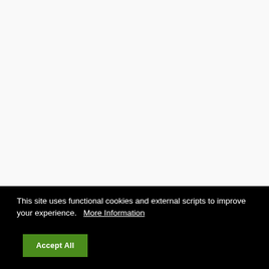This site uses functional cookies and external scripts to improve your experience.   More Information
Accept All